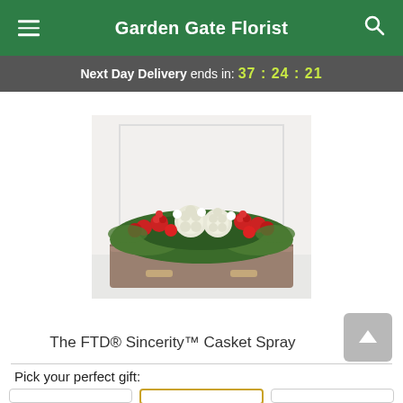Garden Gate Florist
Next Day Delivery ends in: 37:24:21
[Figure (photo): A casket spray floral arrangement featuring red roses, white hydrangeas, and green foliage displayed on top of a silver/bronze casket against a white background.]
The FTD® Sincerity™ Casket Spray
Pick your perfect gift: